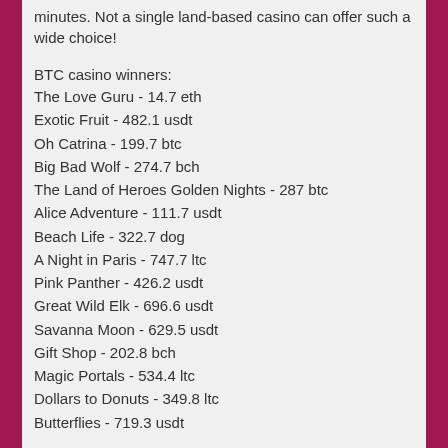minutes. Not a single land-based casino can offer such a wide choice!
BTC casino winners:
The Love Guru - 14.7 eth
Exotic Fruit - 482.1 usdt
Oh Catrina - 199.7 btc
Big Bad Wolf - 274.7 bch
The Land of Heroes Golden Nights - 287 btc
Alice Adventure - 111.7 usdt
Beach Life - 322.7 dog
A Night in Paris - 747.7 ltc
Pink Panther - 426.2 usdt
Great Wild Elk - 696.6 usdt
Savanna Moon - 629.5 usdt
Gift Shop - 202.8 bch
Magic Portals - 534.4 ltc
Dollars to Donuts - 349.8 ltc
Butterflies - 719.3 usdt